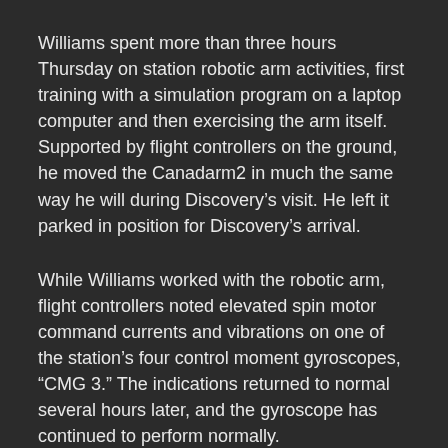Williams spent more than three hours Thursday on station robotic arm activities, first training with a simulation program on a laptop computer and then exercising the arm itself. Supported by flight controllers on the ground, he moved the Canadarm2 in much the same way he will during Discovery's visit. He left it parked in position for Discovery's arrival.
While Williams worked with the robotic arm, flight controllers noted elevated spin motor command currents and vibrations on one of the station's four control moment gyroscopes, “CMG 3.” The indications returned to normal several hours later, and the gyroscope has continued to perform normally.
The next station status report will be issued on Saturday, June 24 following the ISS Progress 22’s launch. For more